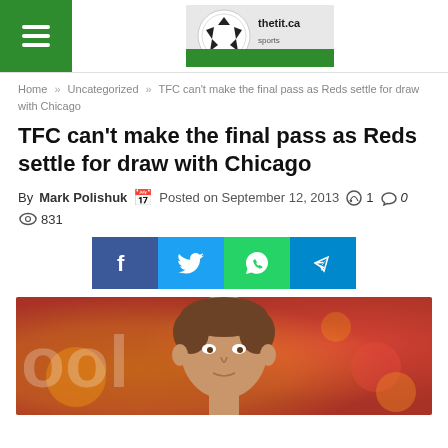Navigation header with hamburger menu and site logo
Home » Uncategorized » TFC can't make the final pass as Reds settle for draw with Chicago
TFC can't make the final pass as Reds settle for draw with Chicago
By Mark Polishuk   Posted on September 12, 2013   1   0   831
[Figure (other): Social share buttons: Facebook, Twitter, WhatsApp, Telegram]
[Figure (photo): Photo of a man (likely soccer player) against a blurred orange/red bokeh background with text in background]